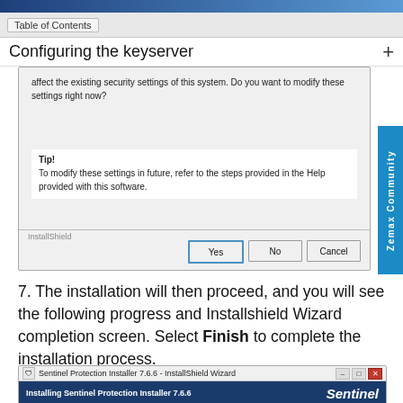Table of Contents
Configuring the keyserver
[Figure (screenshot): InstallShield dialog box showing security settings modification prompt with Tip box and Yes/No/Cancel buttons]
7. The installation will then proceed, and you will see the following progress and Installshield Wizard completion screen. Select Finish to complete the installation process.
[Figure (screenshot): Sentinel Protection Installer 7.6.6 InstallShield Wizard showing Installing Sentinel Protection Installer 7.6.6 progress screen with Sentinel logo]